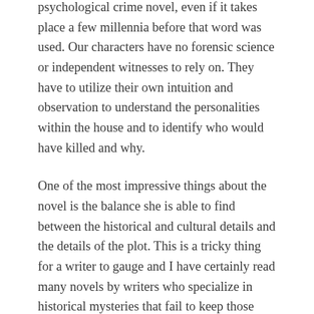psychological crime novel, even if it takes place a few millennia before that word was used. Our characters have no forensic science or independent witnesses to rely on. They have to utilize their own intuition and observation to understand the personalities within the house and to identify who would have killed and why.
One of the most impressive things about the novel is the balance she is able to find between the historical and cultural details and the details of the plot. This is a tricky thing for a writer to gauge and I have certainly read many novels by writers who specialize in historical mysteries that fail to keep those elements in balance.
I mentioned earlier that I think this book does a good job of reflecting aspects of Ancient Egyptian society and spiritualism. While some of the plot points could clearly...